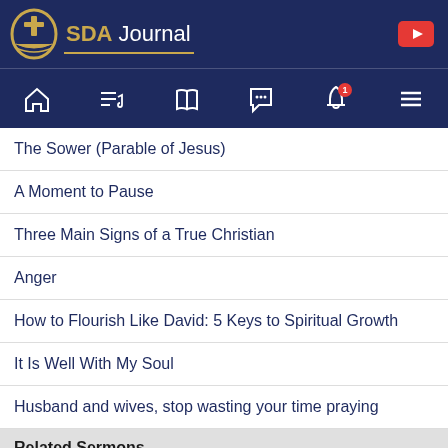SDA Journal
The Sower (Parable of Jesus)
A Moment to Pause
Three Main Signs of a True Christian
Anger
How to Flourish Like David: 5 Keys to Spiritual Growth
It Is Well With My Soul
Husband and wives, stop wasting your time praying
Related Sermons
The power of “I am sorry”
By SDA Journal